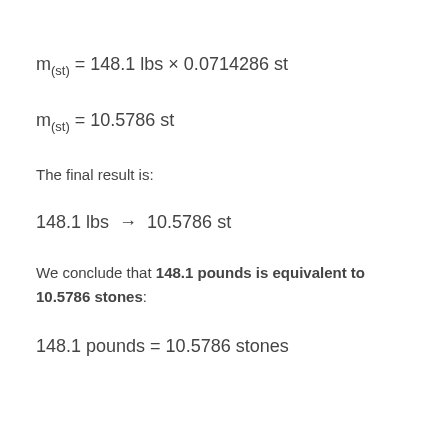The final result is:
We conclude that 148.1 pounds is equivalent to 10.5786 stones: